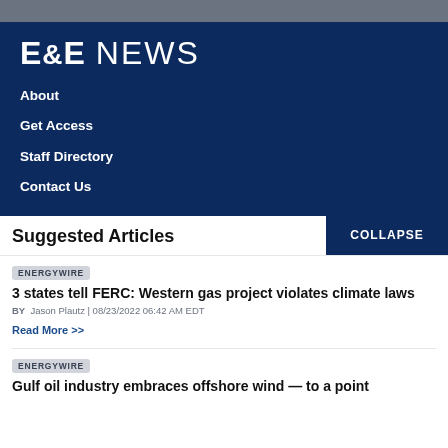E&E NEWS
About
Get Access
Staff Directory
Contact Us
Suggested Articles
COLLAPSE
ENERGYWIRE
3 states tell FERC: Western gas project violates climate laws
BY Jason Plautz | 08/23/2022 06:42 AM EDT
Read More >>
ENERGYWIRE
Gulf oil industry embraces offshore wind — to a point